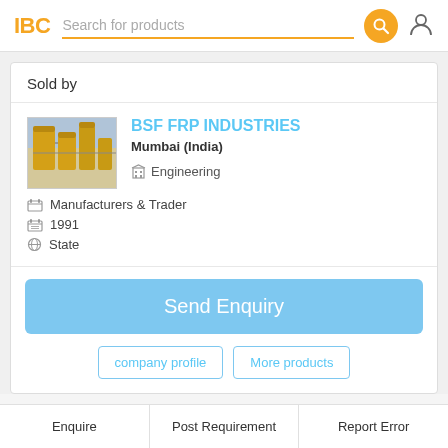IBC   Search for products
Sold by
[Figure (photo): Yellow industrial storage tanks/silos at a facility, outdoor setting]
BSF FRP INDUSTRIES
Mumbai (India)
Engineering
Manufacturers & Trader
1991
State
Send Enquiry
company profile
More products
Enquire   Post Requirement   Report Error